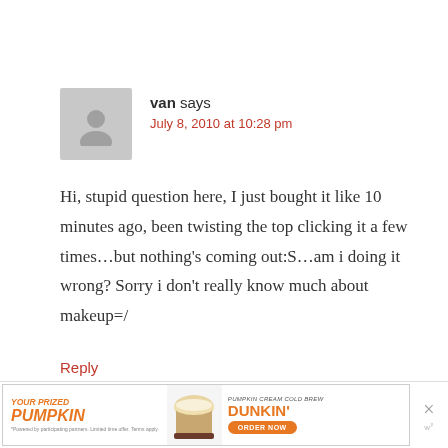van says
July 8, 2010 at 10:28 pm
Hi, stupid question here, I just bought it like 10 minutes ago, been twisting the top clicking it a few times…but nothing's coming out:S…am i doing it wrong? Sorry i don't really know much about makeup=/
Reply
[Figure (screenshot): Dunkin Donuts advertisement banner: 'YOUR PRIZED PUMPKIN' with a Pumpkin Cream Cold Brew drink image and 'DUNKIN' ORDER NOW' button]